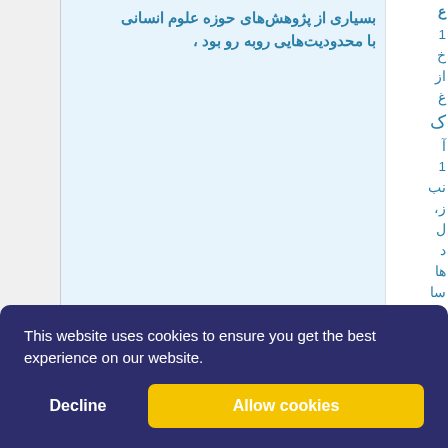بسیاری از پژوهش‌های حوزه علوم انسانی با محدودیت‌هایی روبه رو بود
Partial Farsi/Arabic text visible in right sidebar (clipped)
This website uses cookies to ensure you get the best experience on our website.
Decline
Allow cookies